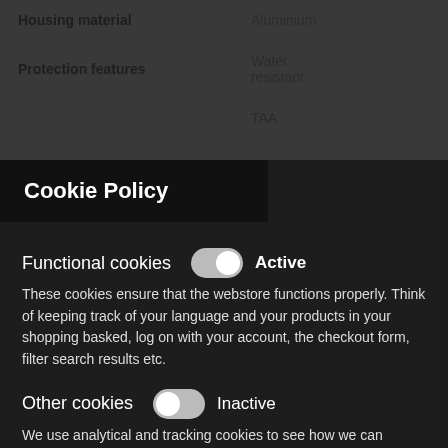| Property | Value |
| --- | --- |
| Housing material | Aluminium |
| Protection features | Water resistant |
|  | TAA |
Cookie Policy
Functional cookies  Active
These cookies ensure that the webstore functions properly. Think of keeping track of your language and your products in your shopping basked, log on with your account, the checkout form, filter search results etc.
Other cookies  Inactive
We use analytical and tracking cookies to see how we can improve the webstore and how we can adapt content and potential advertisements to your preference.
Save Settings